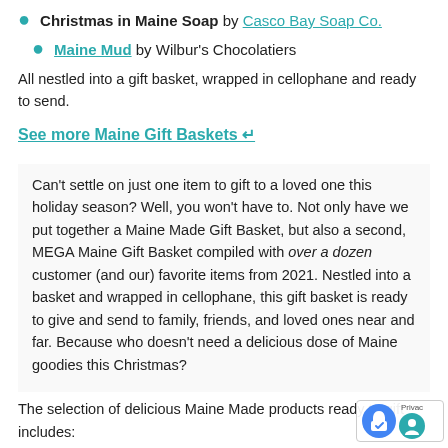Christmas in Maine Soap by Casco Bay Soap Co.
Maine Mud by Wilbur's Chocolatiers
All nestled into a gift basket, wrapped in cellophane and ready to send.
See more Maine Gift Baskets →
Can't settle on just one item to gift to a loved one this holiday season? Well, you won't have to. Not only have we put together a Maine Made Gift Basket, but also a second, MEGA Maine Gift Basket compiled with over a dozen customer (and our) favorite items from 2021. Nestled into a basket and wrapped in cellophane, this gift basket is ready to give and send to family, friends, and loved ones near and far. Because who doesn't need a delicious dose of Maine goodies this Christmas?
The selection of delicious Maine Made products ready to gift includes:
Maine Blueberry Syrup by Royal Rose